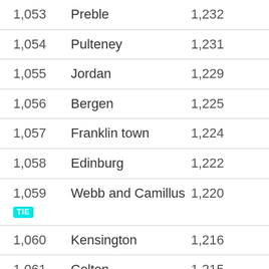| Rank | Name | Value |
| --- | --- | --- |
| 1,053 | Preble | 1,232 |
| 1,054 | Pulteney | 1,231 |
| 1,055 | Jordan | 1,229 |
| 1,056 | Bergen | 1,225 |
| 1,057 | Franklin town | 1,224 |
| 1,058 | Edinburg | 1,222 |
| 1,059 TIE | Webb and Camillus | 1,220 |
| 1,060 | Kensington | 1,216 |
| 1,061 | Colton | 1,215 |
| 1,062 | Tompkins | 1,214 |
| 1,063 TIE | Niles and Warren | 1,211 |